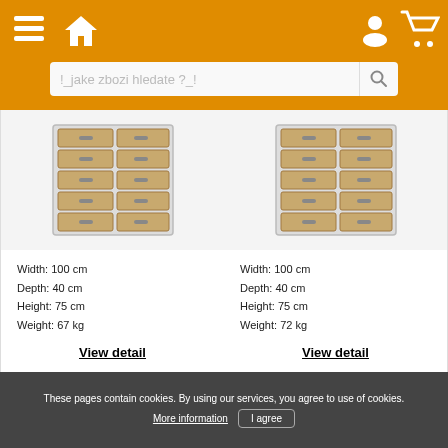Navigation header with hamburger menu, home icon, user icon, cart icon, and search bar with placeholder '!_jake zbozi hledate ?_!'
[Figure (photo): Filing cabinet with multiple drawers (cardboard boxes), white frame, two rows visible, left product card]
Width: 100 cm
Depth: 40 cm
Height: 75 cm
Weight: 67 kg
View detail
[Figure (photo): Filing cabinet with multiple drawers (cardboard boxes), white frame, two rows visible, right product card]
Width: 100 cm
Depth: 40 cm
Height: 75 cm
Weight: 72 kg
View detail
These pages contain cookies. By using our services, you agree to use of cookies. More information  I agree